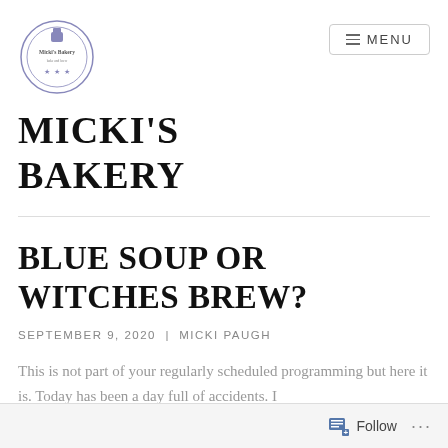[Figure (logo): Micki's Bakery circular logo with a small icon and stars]
MENU
MICKI'S BAKERY
BLUE SOUP OR WITCHES BREW?
SEPTEMBER 9, 2020 | MICKI PAUGH
This is not part of your regularly scheduled programming but here it is. Today has been a day full of accidents. I
Follow ...